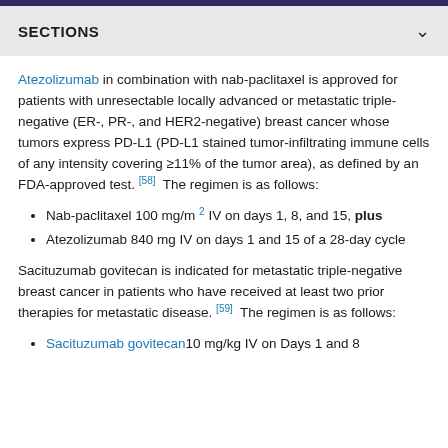SECTIONS
Atezolizumab in combination with nab-paclitaxel is approved for patients with unresectable locally advanced or metastatic triple-negative (ER-, PR-, and HER2-negative) breast cancer whose tumors express PD-L1 (PD-L1 stained tumor-infiltrating immune cells of any intensity covering ≥11% of the tumor area), as defined by an FDA-approved test. [58] The regimen is as follows:
Nab-paclitaxel 100 mg/m 2 IV on days 1, 8, and 15, plus
Atezolizumab 840 mg IV on days 1 and 15 of a 28-day cycle
Sacituzumab govitecan is indicated for metastatic triple-negative breast cancer in patients who have received at least two prior therapies for metastatic disease. [59] The regimen is as follows:
Sacituzumab govitecan 10 mg/kg IV on Days 1 and 8